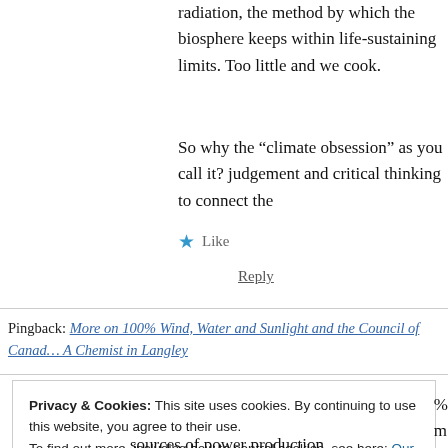radiation, the method by which the biosphere keeps within life-sustaining limits. Too little and we cook.
So why the “climate obsession” as you call it? judgement and critical thinking to connect the
★ Like
Reply
Pingback: More on 100% Wind, Water and Sunlight and the Council of Canada A Chemist in Langley
Privacy & Cookies: This site uses cookies. By continuing to use this website, you agree to their use.
To find out more, including how to control cookies, see here: Our Cookie Policy
Close and accept
sources of power production.